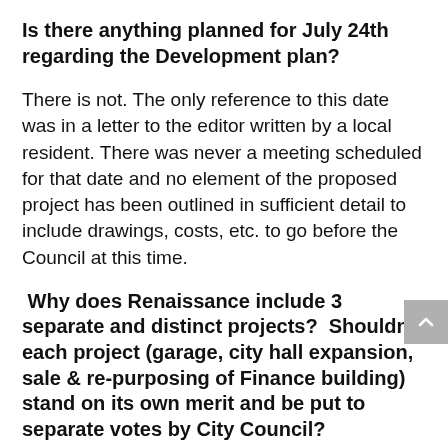Is there anything planned for July 24th regarding the Development plan?
There is not. The only reference to this date was in a letter to the editor written by a local resident. There was never a meeting scheduled for that date and no element of the proposed project has been outlined in sufficient detail to include drawings, costs, etc. to go before the Council at this time.
Why does Renaissance include 3 separate and distinct projects?  Shouldn't each project (garage, city hall expansion, sale & re-purposing of Finance building) stand on its own merit and be put to separate votes by City Council?
The Renaissance Council...